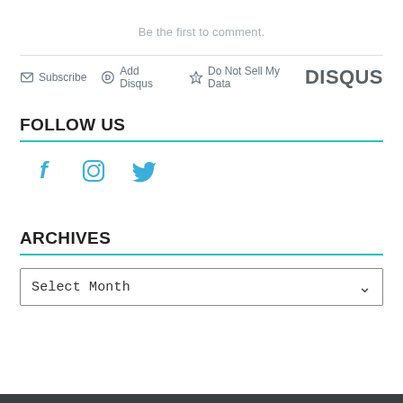Be the first to comment.
Subscribe  Add Disqus  Do Not Sell My Data  DISQUS
FOLLOW US
[Figure (other): Social media icons: Facebook, Instagram, Twitter in blue]
ARCHIVES
Select Month